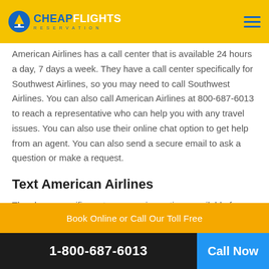CheapFlights Reservation
American Airlines has a call center that is available 24 hours a day, 7 days a week. They have a call center specifically for Southwest Airlines, so you may need to call Southwest Airlines. You can also call American Airlines at 800-687-6013 to reach a representative who can help you with any travel issues. You can also use their online chat option to get help from an agent. You can also send a secure email to ask a question or make a request.
Text American Airlines
They have specific customer service options available for mobile phones. You can also text 800-687-6013 and ask for general
Book Online or Call Our Toll Free
1-800-687-6013  Call Now